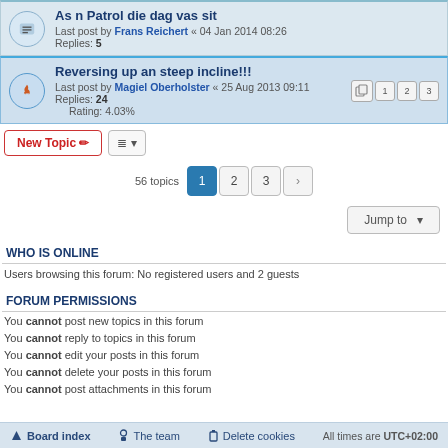As n Patrol die dag vas sit — Last post by Frans Reichert « 04 Jan 2014 08:26 — Replies: 5
Reversing up an steep incline!!! — Last post by Magiel Oberholster « 25 Aug 2013 09:11 — Replies: 24 — Rating: 4.03%
New Topic | Sort | 56 topics | Pages: 1 2 3 >
Jump to
WHO IS ONLINE
Users browsing this forum: No registered users and 2 guests
FORUM PERMISSIONS
You cannot post new topics in this forum
You cannot reply to topics in this forum
You cannot edit your posts in this forum
You cannot delete your posts in this forum
You cannot post attachments in this forum
Board index   The team   Delete cookies   All times are UTC+02:00